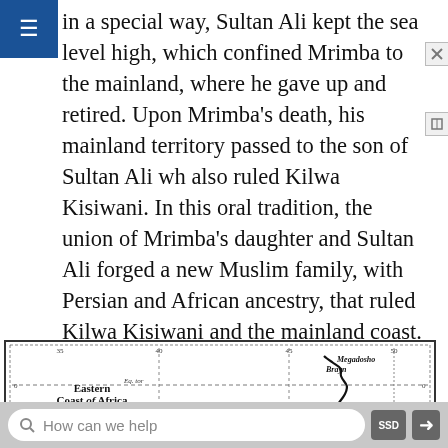in a special way, Sultan Ali kept the sea level high, which confined Mrimba to the mainland, where he gave up and retired. Upon Mrimba's death, his mainland territory passed to the son of Sultan Ali who also ruled Kilwa Kisiwani. In this oral tradition, the union of Mrimba's daughter and Sultan Ali forged a new Muslim family, with Persian and African ancestry, that ruled Kilwa Kisiwani and the mainland coast.
[Figure (map): Historical map titled 'Eastern Coast of Africa frequented by Mohamedans in 1500', showing the coastline with labeled cities including Megadosho, Brayn, Equator marker, Melinde, and Mombaea. The map has a decorative border with tick marks and coordinate indicators.]
How can we help